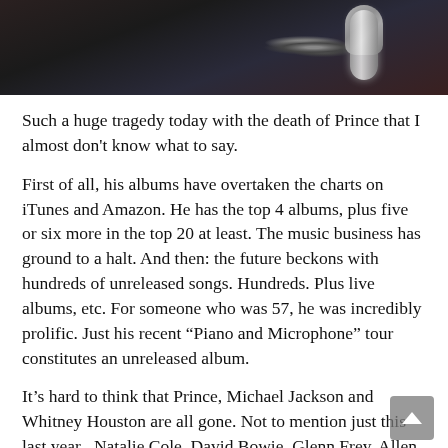[Figure (photo): Partial photo of a person with a microphone, dark background, only lower face/microphone visible]
Such a huge tragedy today with the death of Prince that I almost don't know what to say.
First of all, his albums have overtaken the charts on iTunes and Amazon. He has the top 4 albums, plus five or six more in the top 20 at least. The music business has ground to a halt. And then: the future beckons with hundreds of unreleased songs. Hundreds. Plus live albums, etc. For someone who was 57, he was incredibly prolific. Just his recent “Piano and Microphone” tour constitutes an unreleased album.
It’s hard to think that Prince, Michael Jackson and Whitney Houston are all gone. Not to mention just this last year– Natalie Cole, David Bowie, Glenn Frey, Allen Toussaint, and so on.
I had many encounters with Prince, who I thought was a genius (who didn’t?) but who, let’s face it, was kooky. I spoke with famed publicist Susan Blond this afternoon. We recalled waiting for him once for hours–just hours–to come do an interview. Everything